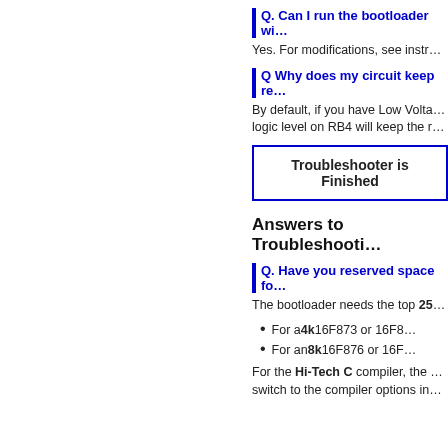Q. Can I run the bootloader wi…
Yes. For modifications, see instr…
Q Why does my circuit keep re…
By default, if you have Low Volta… logic level on RB4 will keep the r…
Troubleshooter is Finished
Answers to Troubleshooti…
Q. Have you reserved space fo…
The bootloader needs the top 25…
For a 4k 16F873 or 16F8…
For an 8k 16F876 or 16F…
For the Hi-Tech C compiler, the … switch to the compiler options in…